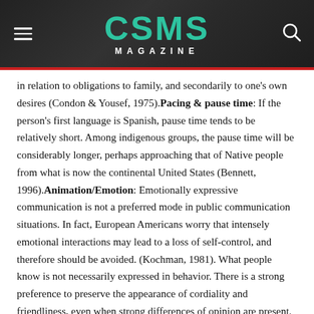CSMS MAGAZINE
in relation to obligations to family, and secondarily to one's own desires (Condon & Yousef, 1975). Pacing & pause time: If the person's first language is Spanish, pause time tends to be relatively short. Among indigenous groups, the pause time will be considerably longer, perhaps approaching that of Native people from what is now the continental United States (Bennett, 1996). Animation/Emotion: Emotionally expressive communication is not a preferred mode in public communication situations. In fact, European Americans worry that intensely emotional interactions may lead to a loss of self-control, and therefore should be avoided. (Kochman, 1981). What people know is not necessarily expressed in behavior. There is a strong preference to preserve the appearance of cordiality and friendliness, even when strong differences of opinion are present. European Americans prefer to speak about beliefs, opinions, intentions and commitments. The prescribed value of “equality” in U.S. culture commonly leads to a presumption of sameness: people assume that if they feel or think a certain way about a situation,